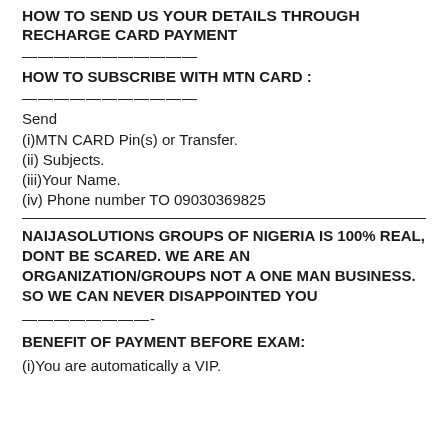HOW TO SEND US YOUR DETAILS THROUGH RECHARGE CARD PAYMENT
———————————
HOW TO SUBSCRIBE WITH MTN CARD :
———————————
Send
(i)MTN CARD Pin(s) or Transfer.
(ii) Subjects.
(iii)Your Name.
(iv) Phone number TO 09030369825
NAIJASOLUTIONS GROUPS OF NIGERIA IS 100% REAL, DONT BE SCARED. WE ARE AN ORGANIZATION/GROUPS NOT A ONE MAN BUSINESS. SO WE CAN NEVER DISAPPOINTED YOU
————————-
BENEFIT OF PAYMENT BEFORE EXAM:
(i)You are automatically a VIP.